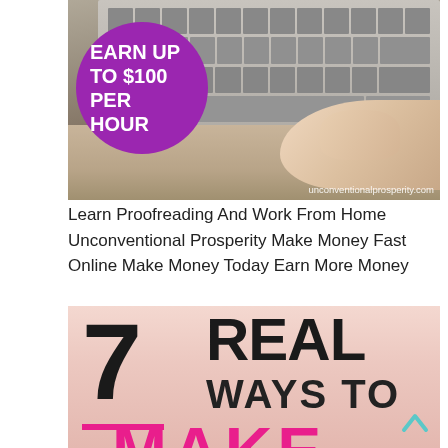[Figure (photo): Photo of person typing on a laptop on a wooden desk, with a purple circle overlay on the left reading 'EARN UP TO $100 PER HOUR' in white bold text. Bottom right watermark reads 'unconventionalprosperity.com'.]
Learn Proofreading And Work From Home Unconventional Prosperity Make Money Fast Online Make Money Today Earn More Money
[Figure (infographic): Infographic image with pink/peachy background. Features large black bold '7' with a pink underline, followed by 'REAL' in large black bold text, then 'WAYS TO' in medium black bold text, and 'MAKE' partially visible at the bottom in large hot-pink bold text. A cyan/teal chevron-up arrow appears in the bottom right corner.]